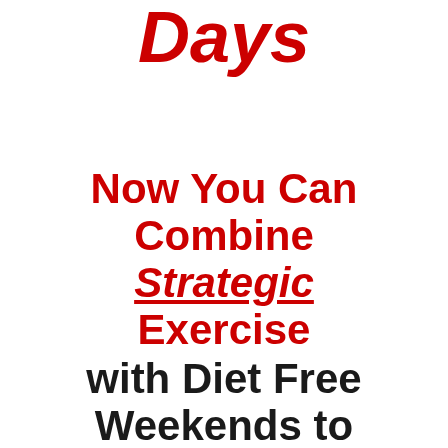Pure Fat in 7 Days
Now You Can Combine Strategic Exercise with Diet Free Weekends to Instantly Melt Fat Even FASTER